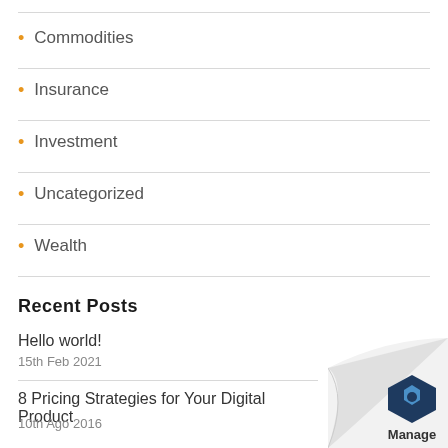Commodities
Insurance
Investment
Uncategorized
Wealth
Recent Posts
Hello world!
15th Feb 2021
8 Pricing Strategies for Your Digital Product
10th Ago 2016